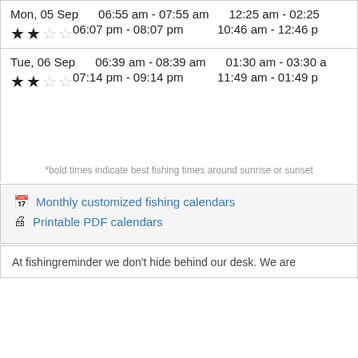Mon, 05 Sep   06:55 am - 07:55 am   12:25 am - 02:25 ...
★★☆☆  06:07 pm - 08:07 pm   10:46 am - 12:46 p...
Tue, 06 Sep   06:39 am - 08:39 am   01:30 am - 03:30 a...
★★☆☆  07:14 pm - 09:14 pm   11:49 am - 01:49 p...
*bold times indicate best fishing times around sunrise or sunset
Monthly customized fishing calendars
Printable PDF calendars
At fishingreminder we don't hide behind our desk. We are...